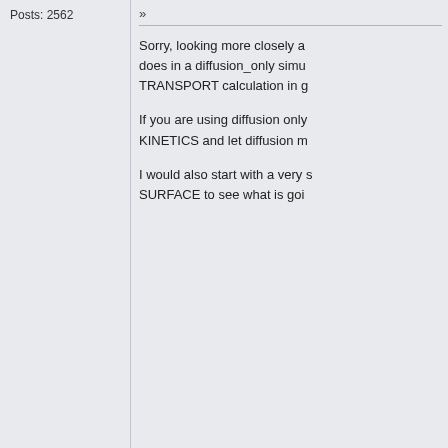Posts: 2562
»
Sorry, looking more closely at does in a diffusion_only simu TRANSPORT calculation in g
If you are using diffusion only KINETICS and let diffusion m
I would also start with a very s SURFACE to see what is goi
Pages: [1]   Go Up
PhreeqcUsers Discussion Forum » Processes » Mixing » Problem with